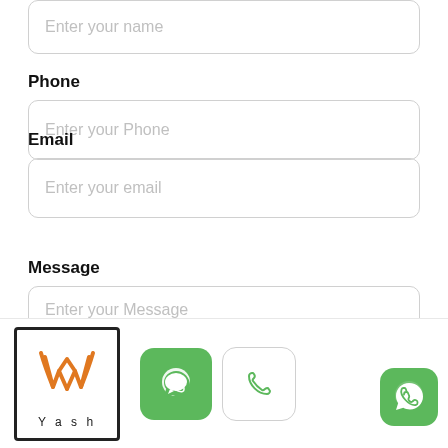Enter your name
Phone
Enter your Phone
Email
Enter your email
Message
Enter your Message
[Figure (logo): Yash logo with orange stylized W/Y symbol inside a dark bordered box, text 'Yash' below]
[Figure (illustration): Green rounded square button with white chat bubble icon (WhatsApp style)]
[Figure (illustration): White rounded square button with green phone handset outline icon]
[Figure (illustration): Green rounded square WhatsApp icon (bottom right)]